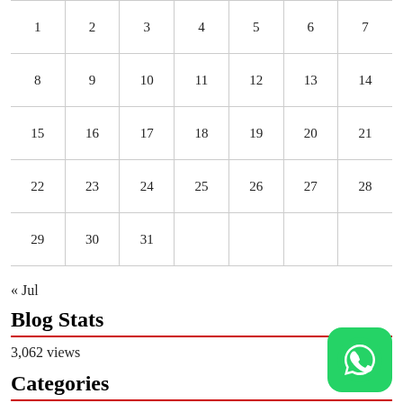| 1 | 2 | 3 | 4 | 5 | 6 | 7 |
| 8 | 9 | 10 | 11 | 12 | 13 | 14 |
| 15 | 16 | 17 | 18 | 19 | 20 | 21 |
| 22 | 23 | 24 | 25 | 26 | 27 | 28 |
| 29 | 30 | 31 |  |  |  |  |
« Jul
Blog Stats
3,062 views
Categories